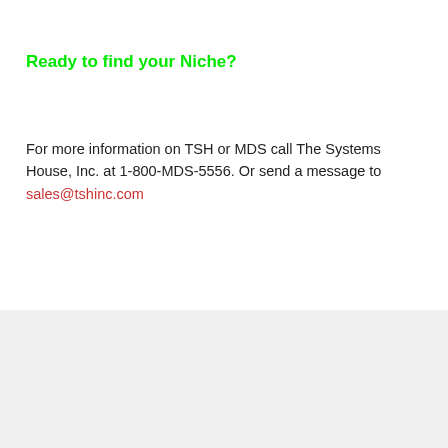Ready to find your Niche?
For more information on TSH or MDS call The Systems House, Inc. at 1-800-MDS-5556. Or send a message to sales@tshinc.com
[Figure (other): Share button]
Home | View web version | Powered by Blogger.